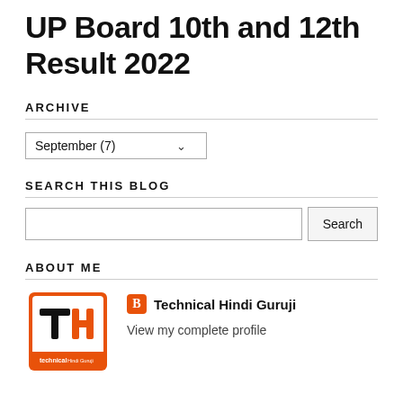UP Board 10th and 12th Result 2022
ARCHIVE
September (7)
SEARCH THIS BLOG
ABOUT ME
[Figure (logo): Technical Hindi Guruji logo with TH letters in black and orange]
Technical Hindi Guruji
View my complete profile